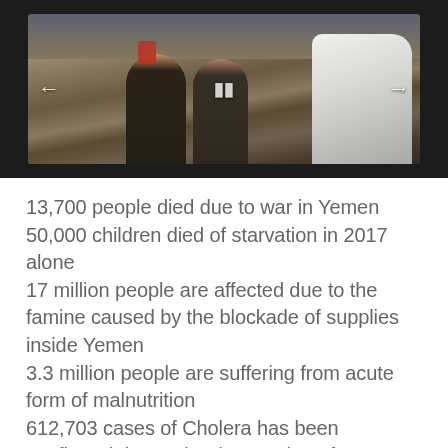[Figure (photo): People walking over rubble in a war-torn area, with navigation arrows overlaid on the image]
13,700 people died due to war in Yemen
50,000 children died of starvation in 2017 alone
17 million people are affected due to the famine caused by the blockade of supplies inside Yemen
3.3 million people are suffering from acute form of malnutrition
612,703 cases of Cholera has been confirmed due to the devastation of sewage and sanitary system in the war. The estimated number of Cholera cases are as high as 1 million people in last 1 year alone.
2.5 million people have been displaced because of